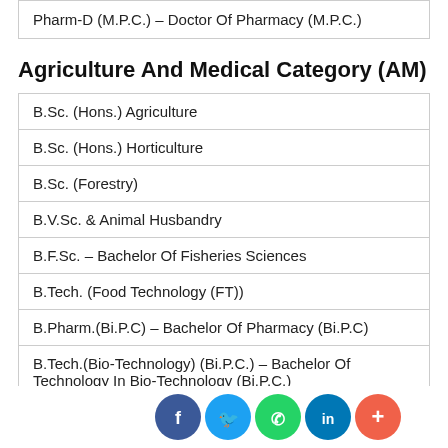Pharm-D (M.P.C.) – Doctor Of Pharmacy (M.P.C.)
Agriculture And Medical Category (AM)
| B.Sc. (Hons.) Agriculture |
| B.Sc. (Hons.) Horticulture |
| B.Sc. (Forestry) |
| B.V.Sc. & Animal Husbandry |
| B.F.Sc. – Bachelor Of Fisheries Sciences |
| B.Tech. (Food Technology (FT)) |
| B.Pharm.(Bi.P.C) – Bachelor Of Pharmacy (Bi.P.C) |
| B.Tech.(Bio-Technology) (Bi.P.C.) – Bachelor Of Technology In Bio-Technology (Bi.P.C.) |
| Pharm-D (Bi.P.C.) – Doctor Of Pharmacy (Bi.P.C.) |
[Figure (infographic): Social media sharing buttons: Facebook, Twitter, WhatsApp, LinkedIn, and More (+)]